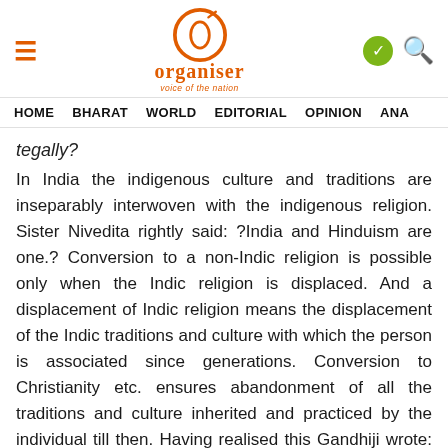Organiser — voice of the nation
HOME   BHARAT   WORLD   EDITORIAL   OPINION   ANA
tegally?
In India the indigenous culture and traditions are inseparably interwoven with the indigenous religion. Sister Nivedita rightly said: ?India and Hinduism are one.? Conversion to a non-Indic religion is possible only when the Indic religion is displaced. And a displacement of Indic religion means the displacement of the Indic traditions and culture with which the person is associated since generations. Conversion to Christianity etc. ensures abandonment of all the traditions and culture inherited and practiced by the individual till then. Having realised this Gandhiji wrote: ?I see many